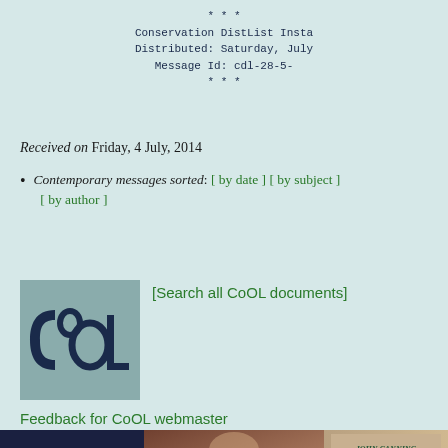* * *
Conservation DistList Insta
Distributed: Saturday, July
Message Id: cdl-28-5-
* * *
Received on Friday, 4 July, 2014
Contemporary messages sorted: [ by date ] [ by subject ] [ by author ]
[Figure (logo): CoOL logo - blue-green square with stylized CoOL letters in dark navy]
[Search all CoOL documents]
Feedback for CoOL webmaster
[Figure (photo): John Canning Co. advertisement banner with text 'Knowledge. Tradition. Craftsmanship.' and 'JOHNCANNING.COM 203.272.3868' on left, decorative image center, John Canning logo on right with 'PERFECTING PRESERVATION']